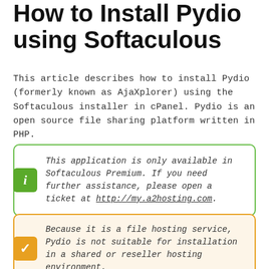How to Install Pydio using Softaculous
This article describes how to install Pydio (formerly known as AjaXplorer) using the Softaculous installer in cPanel. Pydio is an open source file sharing platform written in PHP.
This application is only available in Softaculous Premium. If you need further assistance, please open a ticket at http://my.a2hosting.com.
Because it is a file hosting service, Pydio is not suitable for installation in a shared or reseller hosting environment.